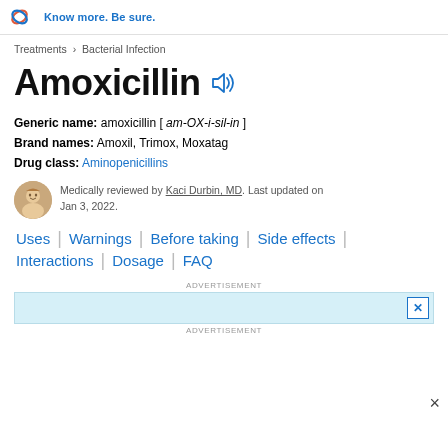Know more. Be sure.
Treatments › Bacterial Infection
Amoxicillin
Generic name: amoxicillin [ am-OX-i-sil-in ]
Brand names: Amoxil, Trimox, Moxatag
Drug class: Aminopenicillins
Medically reviewed by Kaci Durbin, MD. Last updated on Jan 3, 2022.
Uses | Warnings | Before taking | Side effects | Interactions | Dosage | FAQ
[Figure (other): Advertisement banner with close button and ADVERTISEMENT label above and below]
×